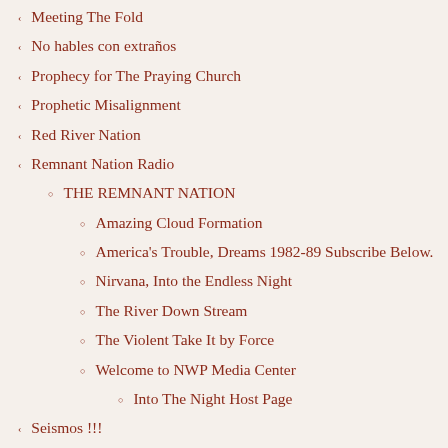Meeting The Fold
No hables con extraños
Prophecy for The Praying Church
Prophetic Misalignment
Red River Nation
Remnant Nation Radio
THE REMNANT NATION
Amazing Cloud Formation
America's Trouble, Dreams 1982-89 Subscribe Below.
Nirvana, Into the Endless Night
The River Down Stream
The Violent Take It by Force
Welcome to NWP Media Center
Into The Night Host Page
Seismos !!!
Soft Dove Articles
As Soft Doves Land
Broken Axels and Drivelines I